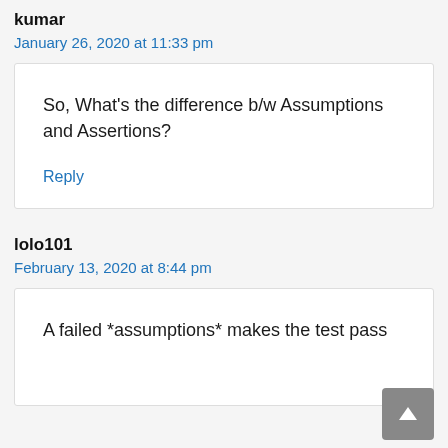kumar
January 26, 2020 at 11:33 pm
So, What's the difference b/w Assumptions and Assertions?
Reply
lolo101
February 13, 2020 at 8:44 pm
A failed *assumptions* makes the test pass